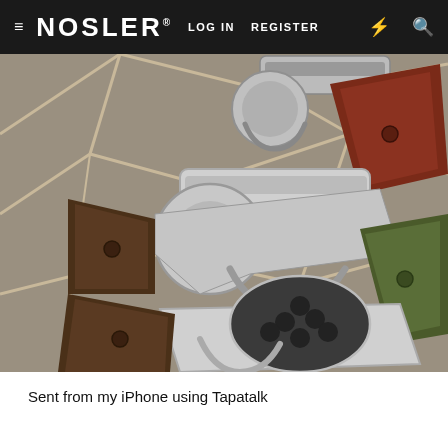≡ NOSLER® LOG IN  REGISTER ⚡ 🔍
[Figure (photo): Three stainless steel revolvers with different grip styles (brown wood, green laminate, dark wood) arranged on a stone tile floor, photographed from above.]
Sent from my iPhone using Tapatalk